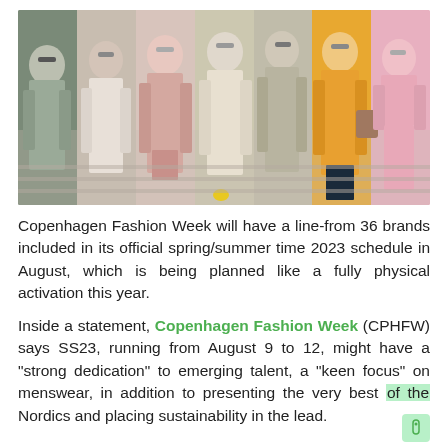[Figure (photo): Group of women in stylish oversized blazers and coordinated outfits at Copenhagen Fashion Week street style, showing various pastel and neutral tones.]
Copenhagen Fashion Week will have a line-from 36 brands included in its official spring/summer time 2023 schedule in August, which is being planned like a fully physical activation this year.
Inside a statement, Copenhagen Fashion Week (CPHFW) says SS23, running from August 9 to 12, might have a "strong dedication" to emerging talent, a "keen focus" on menswear, in addition to presenting the very best of the Nordics and placing sustainability in the lead.